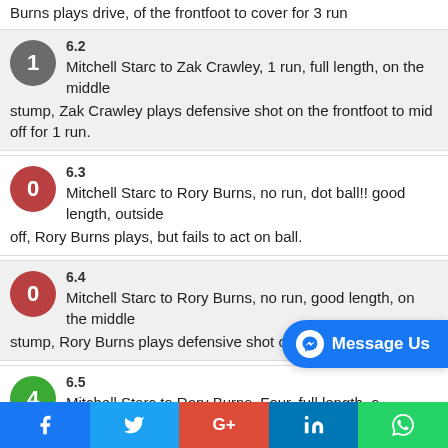Burns plays drive, of the frontfoot to cover for 3 run
6.2 Mitchell Starc to Zak Crawley, 1 run, full length, on the middle stump, Zak Crawley plays defensive shot on the frontfoot to mid off for 1 run.
6.3 Mitchell Starc to Rory Burns, no run, dot ball!! good length, outside off, Rory Burns plays, but fails to act on ball.
6.4 Mitchell Starc to Rory Burns, no run, good length, on the middle stump, Rory Burns plays defensive shot on the frontfoot
6.5 Mitchell Starc to Rory Burns, Four, full length, on the middle stump Rory Burns plays the along the ground flick, of the square leg for four
f  [twitter]  G+  in  [whatsapp]